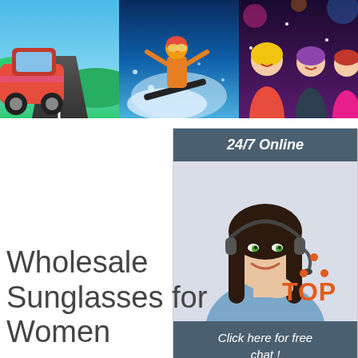[Figure (photo): Three banner images side by side: red car on road, snowboarder in action, group of people at a party]
[Figure (infographic): 24/7 Online customer service panel with agent photo, 'Click here for free chat!' text and orange QUOTATION button]
[Figure (logo): TOP logo with orange dots forming a triangle and orange TOP text]
Wholesale Sunglasses for Women